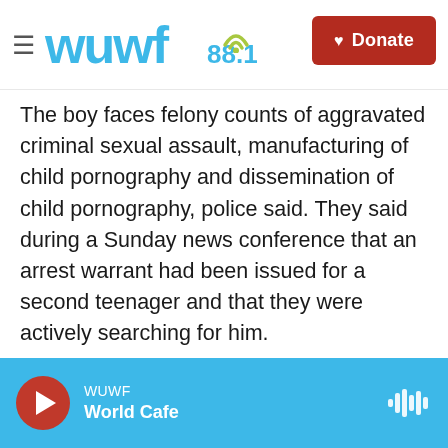WUWF 88.1 — Donate
The boy faces felony counts of aggravated criminal sexual assault, manufacturing of child pornography and dissemination of child pornography, police said. They said during a Sunday news conference that an arrest warrant had been issued for a second teenager and that they were actively searching for him.
The girl was reported missing from Chicago's Lawndale neighborhood after she went to the store and did not return. Then the girl's mother was alerted to the Facebook Live video of the attack, which she showed to Chicago Police
WUWF — World Cafe